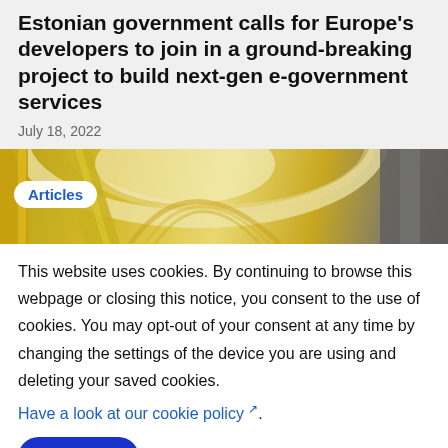Estonian government calls for Europe's developers to join in a ground-breaking project to build next-gen e-government services
July 18, 2022
[Figure (photo): Interior architectural photo with yellow structural elements and glass ceiling, overlaid with an 'Articles' badge]
This website uses cookies. By continuing to browse this webpage or closing this notice, you consent to the use of cookies. You may opt-out of your consent at any time by changing the settings of the device you are using and deleting your saved cookies.
Have a look at our cookie policy ↗.
I AGREE